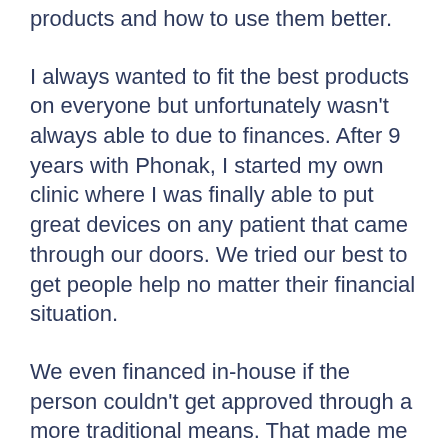products and how to use them better.
I always wanted to fit the best products on everyone but unfortunately wasn't always able to due to finances. After 9 years with Phonak, I started my own clinic where I was finally able to put great devices on any patient that came through our doors. We tried our best to get people help no matter their financial situation.
We even financed in-house if the person couldn't get approved through a more traditional means. That made me very nervous at first because we still had to pay our invoices even if the aids weren't going to be paid for a long time. But it worked and we were able to help people that had been